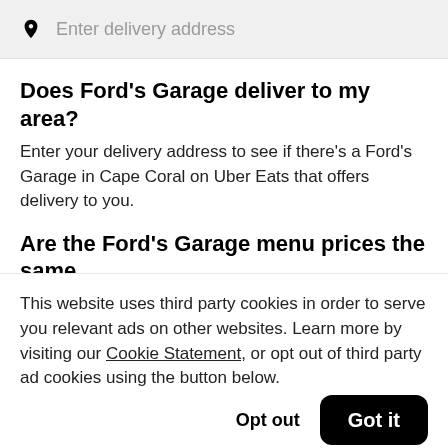Enter delivery address
Does Ford's Garage deliver to my area?
Enter your delivery address to see if there's a Ford's Garage in Cape Coral on Uber Eats that offers delivery to you.
Are the Ford's Garage menu prices the same
This website uses third party cookies in order to serve you relevant ads on other websites. Learn more by visiting our Cookie Statement, or opt out of third party ad cookies using the button below.
Opt out
Got it